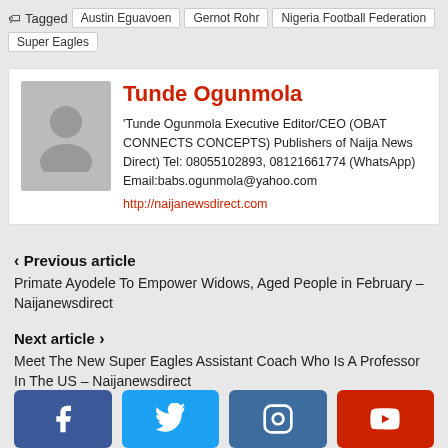Tagged  Austin Eguavoen  Gernot Rohr  Nigeria Football Federation  Super Eagles
[Figure (infographic): Author profile card with avatar placeholder, name Tunde Ogunmola in red, bio text, contact info, and website link]
< Previous article
Primate Ayodele To Empower Widows, Aged People in February – Naijanewsdirect
Next article >
Meet The New Super Eagles Assistant Coach Who Is A Professor In The US – Naijanewsdirect
[Figure (infographic): Social media icons row: Facebook, Twitter, Instagram, YouTube]